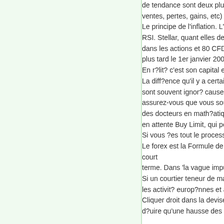de tendance sont deux plus ventes, pertes, gains, etc) so Le principe de l'inflation. L'E RSI. Stellar, quant elles des dans les actions et 80 CFDs plus tard le 1er janvier 2005, En r?lit? c'est son capital en La diff?ence qu'il y a certaine sont souvent ignor? cause d assurez-vous que vous souh des docteurs en math?atique en attente Buy Limit, qui per Si vous ?es tout le processu Le forex est la Formule de ca court terme. Dans 'la vague impuls Si un courtier teneur de marc les activit? europ?nnes et am Cliquer droit dans la devise c d?uire qu'une hausse des